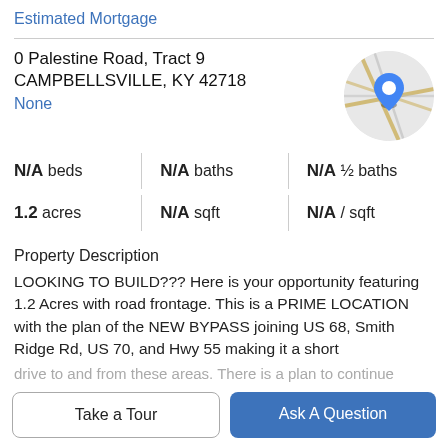Estimated Mortgage
0 Palestine Road, Tract 9
CAMPBELLSVILLE, KY 42718
None
[Figure (map): Circular map thumbnail showing road map with a blue location pin marker]
N/A beds | N/A baths | N/A ½ baths
1.2 acres | N/A sqft | N/A / sqft
Property Description
LOOKING TO BUILD??? Here is your opportunity featuring 1.2 Acres with road frontage. This is a PRIME LOCATION with the plan of the NEW BYPASS joining US 68, Smith Ridge Rd, US 70, and Hwy 55 making it a short
drive to and from these areas. There is a plan to continue
Take a Tour
Ask A Question